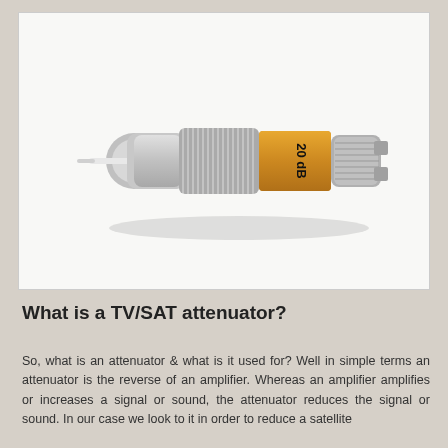[Figure (photo): A coaxial TV/SAT attenuator connector component. It is a cylindrical metallic device with a knurled silver barrel, a white plastic centre pin on the left end, and an orange/yellow band labeled '20 dB' on the right side, set against a white background.]
What is a TV/SAT attenuator?
So, what is an attenuator & what is it used for? Well in simple terms an attenuator is the reverse of an amplifier. Whereas an amplifier amplifies or increases a signal or sound, the attenuator reduces the signal or sound. In our case we look to it in order to reduce a satellite